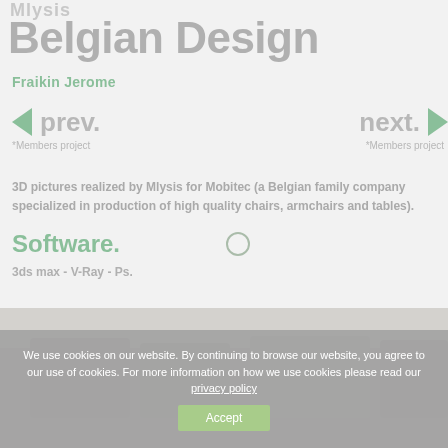Mlysis
Belgian Design
Fraikin Jerome
prev.
*Members project
next.
*Members project
3D pictures realized by Mlysis for Mobitec (a Belgian family company specialized in production of high quality chairs, armchairs and tables).
Software.
3ds max - V-Ray - Ps.
[Figure (photo): Partial view of a room interior with chairs/furniture from Mobitec, partially visible at bottom of page]
We use cookies on our website. By continuing to browse our website, you agree to our use of cookies. For more information on how we use cookies please read our privacy policy
Accept